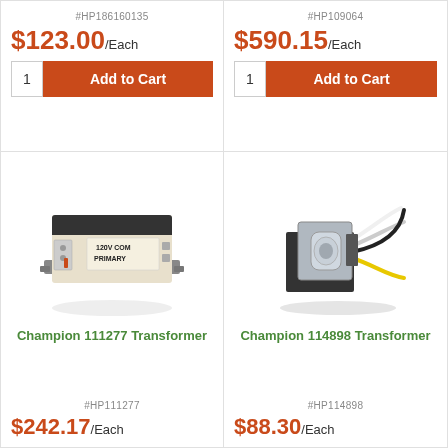#HP186160135
$123.00/Each
1 | Add to Cart
#HP109064
$590.15/Each
1 | Add to Cart
[Figure (photo): Champion 111277 Transformer, beige/white rectangular transformer with black mounting bracket, labeled 120V COM PRIMARY]
Champion 111277 Transformer
#HP111277
$242.17/Each
[Figure (photo): Champion 114898 Transformer, silver/chrome transformer with black housing, multiple colored wires coming out]
Champion 114898 Transformer
#HP114898
$88.30/Each